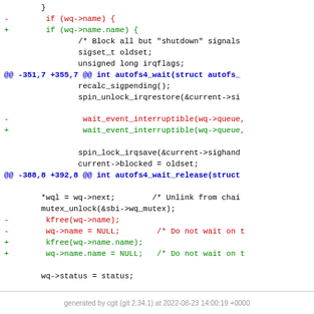Code diff showing changes to autofs4 wait functions, including wq->name to wq->name.name refactoring
generated by cgit (git 2.34.1) at 2022-08-23 14:00:19 +0000